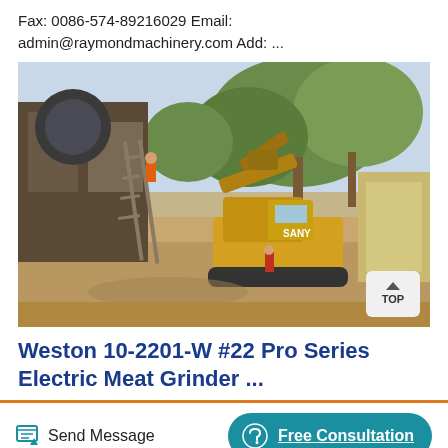Fax: 0086-574-89216029 Email: admin@raymondmachinery.com Add: ...
[Figure (photo): Construction site with machinery including a yellow excavator and industrial crushing equipment, with workers visible, large trees in background, dry dirt ground]
Weston 10-2201-W #22 Pro Series Electric Meat Grinder ...
Send Message
Free Consultation